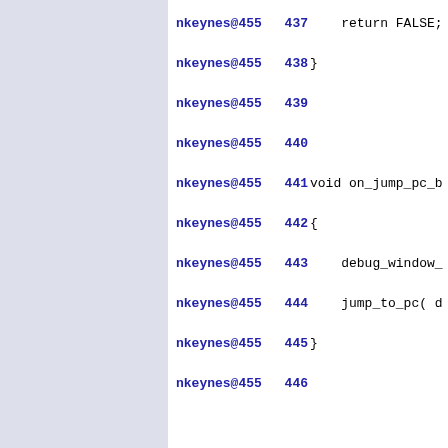nkeynes@455  437    return FALSE;
nkeynes@455  438 }
nkeynes@455  439
nkeynes@455  440
nkeynes@455  441 void on_jump_pc_b
nkeynes@455  442 {
nkeynes@455  443    debug_window_
nkeynes@455  444    jump_to_pc( d
nkeynes@455  445 }
nkeynes@455  446